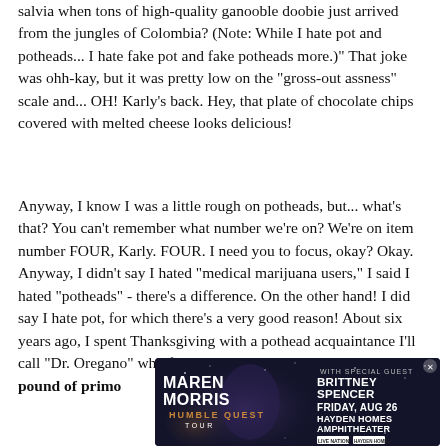salvia when tons of high-quality ganooble doobie just arrived from the jungles of Colombia? (Note: While I hate pot and potheads... I hate fake pot and fake potheads more.)" That joke was ohh-kay, but it was pretty low on the "gross-out assness" scale and... OH! Karly's back. Hey, that plate of chocolate chips covered with melted cheese looks delicious!
Anyway, I know I was a little rough on potheads, but... what's that? You can't remember what number we're on? We're on item number FOUR, Karly. FOUR. I need you to focus, okay? Okay. Anyway, I didn't say I hated "medical marijuana users," I said I hated "potheads" - there's a difference. On the other hand! I did say I hate pot, for which there's a very good reason! About six years ago, I spent Thanksgiving with a pothead acquaintance I'll call "Dr. Oregano" who fed me brownies filled with roughly a pound of primo
[Figure (infographic): Advertisement for Maren Morris Humble Quest Tour with special guest Brittney Spencer, Friday Aug 26 at Hayden Homes Amphitheater. Dark navy background with concert imagery and artist silhouette.]